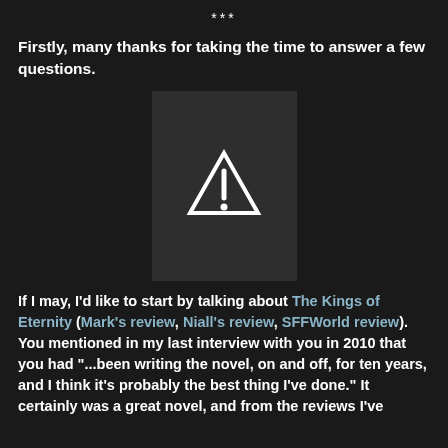***
Firstly, many thanks for taking the time to answer a few questions.
[Figure (other): Book cover image placeholder with warning triangle icon on dark background]
If I may, I'd like to start by talking about The Kings of Eternity (Mark's review, Niall's review, SFFWorld review). You mentioned in my last interview with you in 2010 that you had "...been writing the novel, on and off, for ten years, and I think it's probably the best thing I've done." It certainly was a great novel, and from the reviews I've